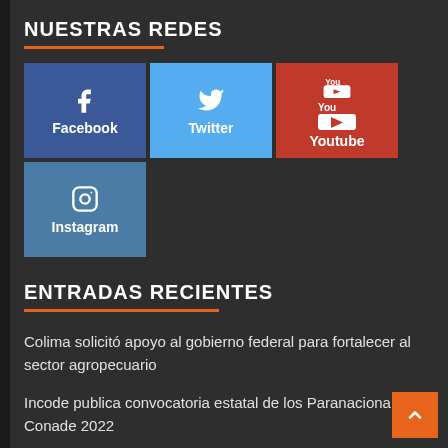NUESTRAS REDES
[Figure (infographic): Social media buttons grid: Facebook (blue), Twitter (light blue), Youtube (red), Instagram (steel blue), each with icon and label]
ENTRADAS RECIENTES
Colima solicitó apoyo al gobierno federal para fortalecer al sector agropecuario
Incode publica convocatoria estatal de los Paranacionales Conade 2022